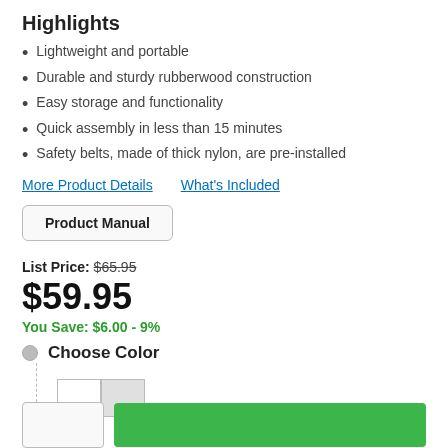Highlights
Lightweight and portable
Durable and sturdy rubberwood construction
Easy storage and functionality
Quick assembly in less than 15 minutes
Safety belts, made of thick nylon, are pre-installed
More Product Details   What's Included
Product Manual
List Price: $65.95
$59.95
You Save: $6.00 - 9%
Choose Color
[Figure (other): Color swatch selector showing two color options (white and light gray)]
[Figure (other): Bottom action row with quantity selector button and Add to Cart green button]